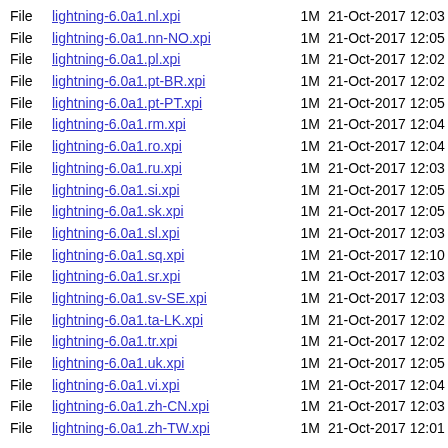File  lightning-6.0a1.nl.xpi  1M  21-Oct-2017 12:03
File  lightning-6.0a1.nn-NO.xpi  1M  21-Oct-2017 12:05
File  lightning-6.0a1.pl.xpi  1M  21-Oct-2017 12:02
File  lightning-6.0a1.pt-BR.xpi  1M  21-Oct-2017 12:02
File  lightning-6.0a1.pt-PT.xpi  1M  21-Oct-2017 12:05
File  lightning-6.0a1.rm.xpi  1M  21-Oct-2017 12:04
File  lightning-6.0a1.ro.xpi  1M  21-Oct-2017 12:04
File  lightning-6.0a1.ru.xpi  1M  21-Oct-2017 12:03
File  lightning-6.0a1.si.xpi  1M  21-Oct-2017 12:05
File  lightning-6.0a1.sk.xpi  1M  21-Oct-2017 12:05
File  lightning-6.0a1.sl.xpi  1M  21-Oct-2017 12:03
File  lightning-6.0a1.sq.xpi  1M  21-Oct-2017 12:10
File  lightning-6.0a1.sr.xpi  1M  21-Oct-2017 12:03
File  lightning-6.0a1.sv-SE.xpi  1M  21-Oct-2017 12:03
File  lightning-6.0a1.ta-LK.xpi  1M  21-Oct-2017 12:02
File  lightning-6.0a1.tr.xpi  1M  21-Oct-2017 12:02
File  lightning-6.0a1.uk.xpi  1M  21-Oct-2017 12:05
File  lightning-6.0a1.vi.xpi  1M  21-Oct-2017 12:04
File  lightning-6.0a1.zh-CN.xpi  1M  21-Oct-2017 12:03
File  lightning-6.0a1.zh-TW.xpi  1M  21-Oct-2017 12:01